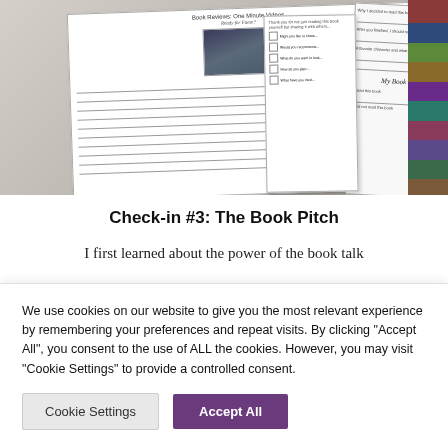[Figure (photo): Photo of printed educational worksheets laid on a surface. Worksheets include 'Book Reviews: One Minute Videos – Ready for Fame?' with a camera image, a worksheet with checkboxes and lines, 'My Book Pitch' worksheet, and a stack of colorful books visible on the right side.]
Check-in #3: The Book Pitch
I first learned about the power of the book talk
We use cookies on our website to give you the most relevant experience by remembering your preferences and repeat visits. By clicking "Accept All", you consent to the use of ALL the cookies. However, you may visit "Cookie Settings" to provide a controlled consent.